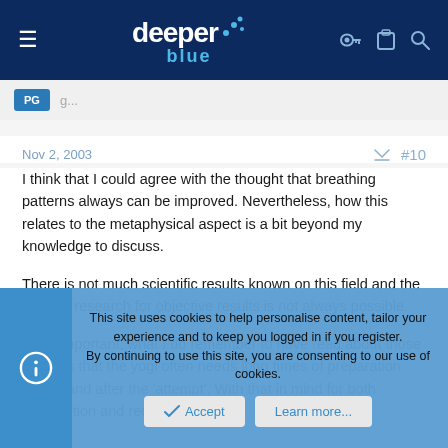deeper blue — website header
Nov 2, 2003   #10
I think that I could agree with the thought that breathing patterns always can be improved. Nevertheless, how this relates to the metaphysical aspect is a bit beyond my knowledge to discuss.

There is not much scientific results known on this field and the needed research for objective results is not always possible.

More important, what I do remember to have read about those cases is that the yogi often needs long times of preparation before and after the 'attempt'. With that in mind for both competition and recreational free
This site uses cookies to help personalise content, tailor your experience and to keep you logged in if you register.
By continuing to use this site, you are consenting to our use of cookies.
Accept   Learn more...